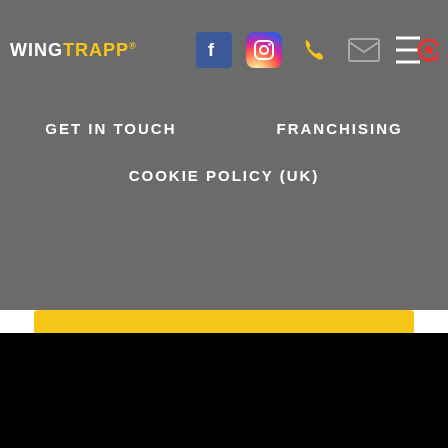WINGTRAPP
GET IN TOUCH
FRANCHISING
COOKIE POLICY (UK)
We use cookies to optimize our website and our service.
Accept cookies
Functional only